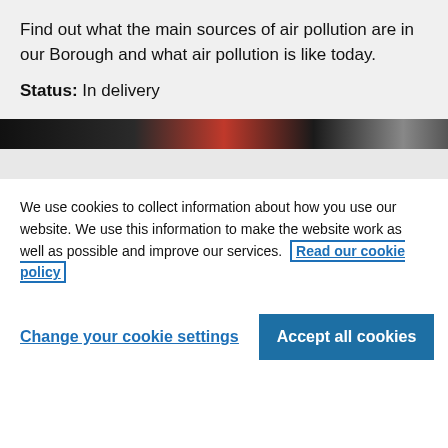Find out what the main sources of air pollution are in our Borough and what air pollution is like today.
Status: In delivery
[Figure (photo): A dark photograph showing what appears to be a vehicle or street scene with a red element visible in the center]
We use cookies to collect information about how you use our website. We use this information to make the website work as well as possible and improve our services. Read our cookie policy
Change your cookie settings
Accept all cookies